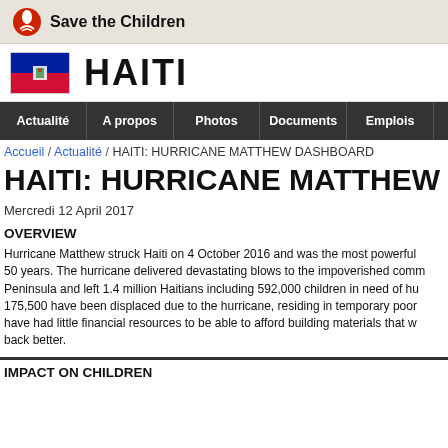Save the Children
[Figure (logo): Save the Children logo with red circle/child icon and text 'Save the Children']
HAITI
[Figure (illustration): Flag of Haiti - blue and red horizontal bicolor with coat of arms]
Actualité / A propos / Photos / Documents / Emplois
Accueil / Actualité / HAITI: HURRICANE MATTHEW DASHBOARD
HAITI: HURRICANE MATTHEW DASHBOARD
Mercredi 12 April 2017
OVERVIEW
Hurricane Matthew struck Haiti on 4 October 2016 and was the most powerful hurricane to hit the island in 50 years. The hurricane delivered devastating blows to the impoverished communities of the Southern Peninsula and left 1.4 million Haitians including 592,000 children in need of humanitarian aid. Some 175,500 have been displaced due to the hurricane, residing in temporary poor shelters as many families have had little financial resources to be able to afford building materials that would allow them to build back better.
IMPACT ON CHILDREN